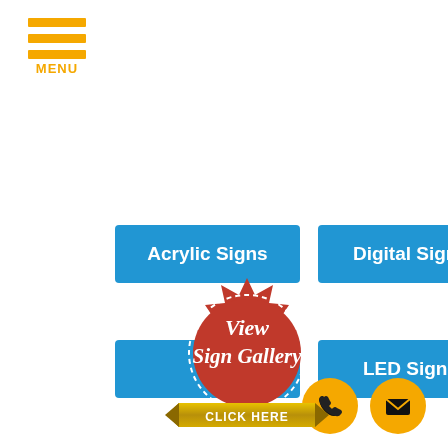[Figure (logo): Hamburger menu icon with three gold horizontal bars and MENU text in gold]
Acrylic Signs
Digital Signs
[Figure (illustration): Red badge/seal with gold ribbon at bottom, white cursive text 'View Sign Gallery' and 'CLICK HERE' in gold banner]
E...
LED Signs
[Figure (illustration): Gold circle phone icon and gold circle email icon at bottom right]